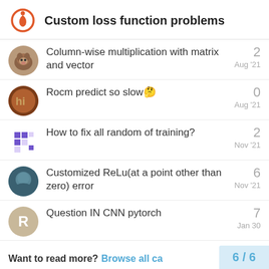Custom loss function problems
Column-wise multiplication with matrix and vector — 2 replies — Aug '21
Rocm predict so slow🤔 — 0 replies — Aug '21
How to fix all random of training? — 2 replies — Nov '21
Customized ReLu(at a point other than zero) error — 6 replies — Nov '21
Question IN CNN pytorch — 7 replies — Jan 30
Want to read more? Browse all ca — 6 / 6